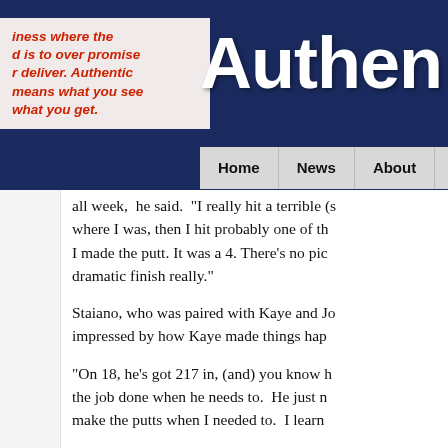business where the d is to over promise r deliver. Authentic means what you see what you get.
Authen
Home | News | About | Pete
all week, he said. "I really hit a terrible (s) where I was, then I hit probably one of th I made the putt. It was a 4. There's no pic dramatic finish really."
Staiano, who was paired with Kaye and Jo impressed by how Kaye made things hap
"On 18, he's got 217 in, (and) you know h the job done when he needs to. He just n make the putts when I needed to. I learn